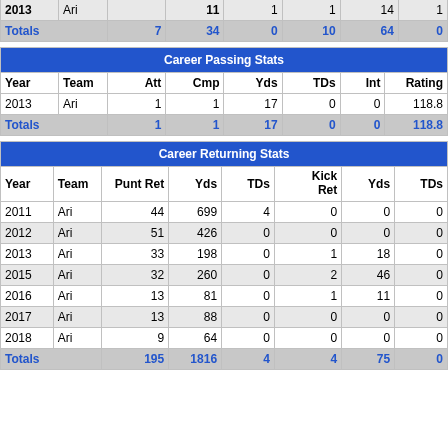| Year | Team | Att | Cmp | Yds | TDs | Int | Rating |
| --- | --- | --- | --- | --- | --- | --- | --- |
| (cropped) | Ari |  | 11 | 1 | 1 | 14 | 1 |
| Totals |  | 7 | 34 | 0 | 10 | 64 | 0 |
| Year | Team | Att | Cmp | Yds | TDs | Int | Rating |
| --- | --- | --- | --- | --- | --- | --- | --- |
| 2013 | Ari | 1 | 1 | 17 | 0 | 0 | 118.8 |
| Totals |  | 1 | 1 | 17 | 0 | 0 | 118.8 |
| Year | Team | Punt Ret | Yds | TDs | Kick Ret | Yds | TDs |
| --- | --- | --- | --- | --- | --- | --- | --- |
| 2011 | Ari | 44 | 699 | 4 | 0 | 0 | 0 |
| 2012 | Ari | 51 | 426 | 0 | 0 | 0 | 0 |
| 2013 | Ari | 33 | 198 | 0 | 1 | 18 | 0 |
| 2015 | Ari | 32 | 260 | 0 | 2 | 46 | 0 |
| 2016 | Ari | 13 | 81 | 0 | 1 | 11 | 0 |
| 2017 | Ari | 13 | 88 | 0 | 0 | 0 | 0 |
| 2018 | Ari | 9 | 64 | 0 | 0 | 0 | 0 |
| Totals |  | 195 | 1816 | 4 | 4 | 75 | 0 |